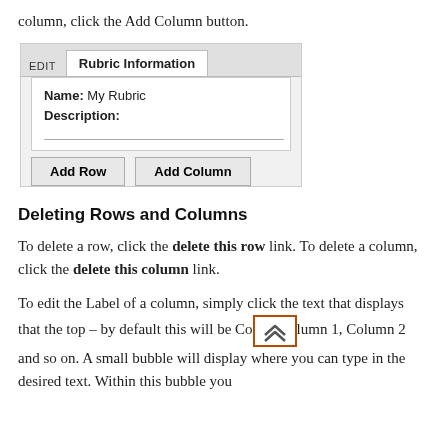column, click the Add Column button.
[Figure (screenshot): Screenshot of a rubric editor UI showing an 'EDIT' tab and 'Rubric Information' tab, with fields for Name (My Rubric) and Description, plus 'Add Row' and 'Add Column' buttons.]
Deleting Rows and Columns
To delete a row, click the delete this row link. To delete a column, click the delete this column link.
To edit the Label of a column, simply click the text that displays that the top – by default this will be Column 1, Column 2 and so on. A small bubble will display where you can type in the desired text. Within this bubble you